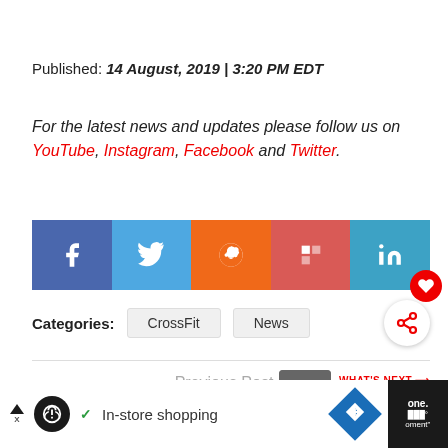Published: 14 August, 2019 | 3:20 PM EDT
For the latest news and updates please follow us on YouTube, Instagram, Facebook and Twitter.
[Figure (other): Social media share buttons row: Facebook (blue), Twitter (light blue), Reddit (orange), Flipboard (red), LinkedIn (teal) with a red heart/like bubble overlay]
Categories: CrossFit  News
[Figure (other): Share icon circle button]
[Figure (other): What's Next thumbnail with Lee Priest article preview]
Previous Post
[Figure (other): Advertisement bar: In-store shopping ad with icons]